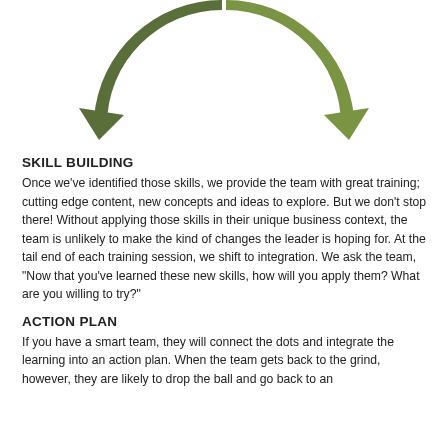[Figure (other): Circular arrow diagram showing a cycle with two visible segments: 'team coaching' (left arrow, dark olive green) and 'practice' (right arrow, lighter green), both rotated/upside-down as if the top portion of a larger circular process diagram.]
SKILL BUILDING
Once we've identified those skills, we provide the team with great training; cutting edge content, new concepts and ideas to explore. But we don't stop there! Without applying those skills in their unique business context, the team is unlikely to make the kind of changes the leader is hoping for. At the tail end of each training session, we shift to integration. We ask the team, “Now that you've learned these new skills, how will you apply them? What are you willing to try?”
ACTION PLAN
If you have a smart team, they will connect the dots and integrate the learning into an action plan. When the team gets back to the grind, however, they are likely to drop the ball and go back to an